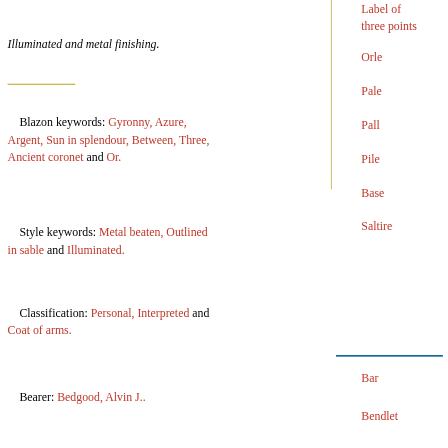Illuminated and metal finishing.
Blazon keywords: Gyronny, Azure, Argent, Sun in splendour, Between, Three, Ancient coronet and Or.
Style keywords: Metal beaten, Outlined in sable and Illuminated.
Classification: Personal, Interpreted and Coat of arms.
Bearer: Bedgood, Alvin J..
Label of three points
Orle
Pale
Pall
Pile
Base
Saltire
Bar
Bendlet